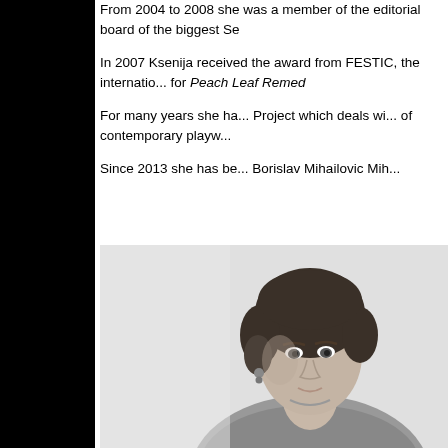From 2004 to 2008 she was a member of the editorial board of the biggest Se...
In 2007 Ksenija received the award from FESTIC, the international festival, for Peach Leaf Remed...
For many years she has been running the Project which deals with the promotion of contemporary playw...
Since 2013 she has been working on Borislav Mihailovic Mih...
[Figure (photo): Black and white portrait photo of a woman with short dark hair, looking slightly to the side, wearing a cardigan]